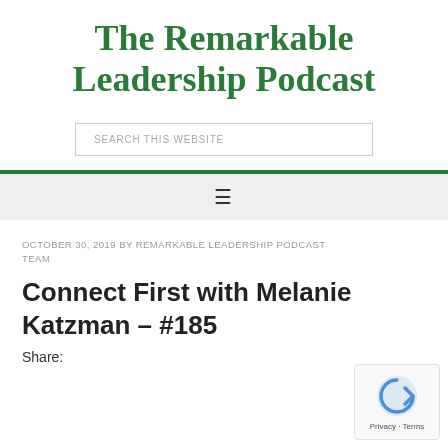The Remarkable Leadership Podcast
SEARCH THIS WEBSITE
☰
OCTOBER 30, 2019 BY REMARKABLE LEADERSHIP PODCAST TEAM
Connect First with Melanie Katzman – #185
Share: